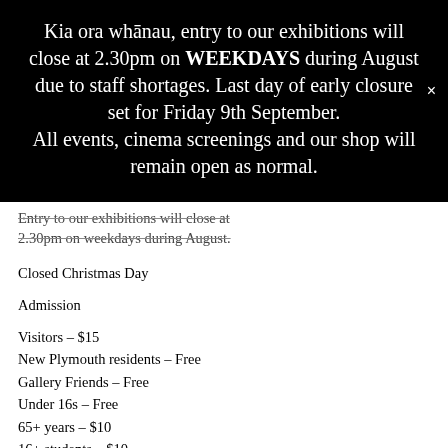Kia ora whānau, entry to our exhibitions will close at 2.30pm on WEEKDAYS during August due to staff shortages. Last day of early closure set for Friday 9th September. All events, cinema screenings and our shop will remain open as normal.
Entry to our exhibitions will close at 2.30pm on weekdays during August.
Closed Christmas Day
Admission
Visitors – $15
New Plymouth residents – Free
Gallery Friends – Free
Under 16s – Free
65+ years – $10
16+ students – $10